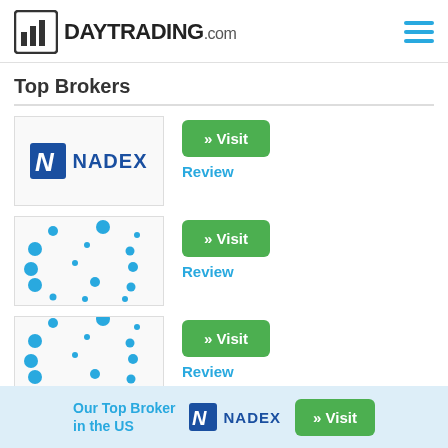[Figure (logo): DayTrading.com logo with bar chart icon and hamburger menu]
Top Brokers
[Figure (logo): NADEX broker logo with Visit button and Review link]
[Figure (logo): Second broker logo (dot pattern) with Visit button and Review link]
[Figure (logo): Third broker logo (dot pattern, partial) with Visit button and Review link]
Our Top Broker in the US
[Figure (logo): NADEX small logo in bottom bar]
» Visit